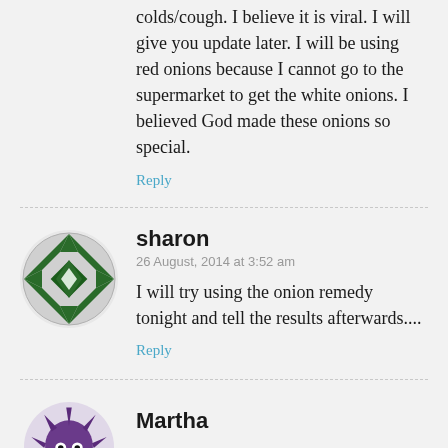colds/cough. I believe it is viral. I will give you update later. I will be using red onions because I cannot go to the supermarket to get the white onions. I believed God made these onions so special.
Reply
sharon
26 August, 2014 at 3:52 am
I will try using the onion remedy tonight and tell the results afterwards....
Reply
Martha